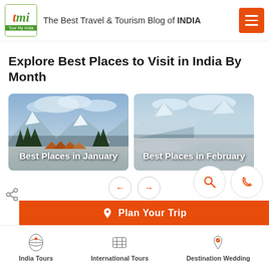The Best Travel & Tourism Blog of INDIA
Explore Best Places to Visit in India By Month
[Figure (photo): Best Places in January - snowy mountain scene with orange tents]
[Figure (photo): Best Places in February - snowy mountain landscape]
Plan Your Trip
India Tours | International Tours | Destination Wedding